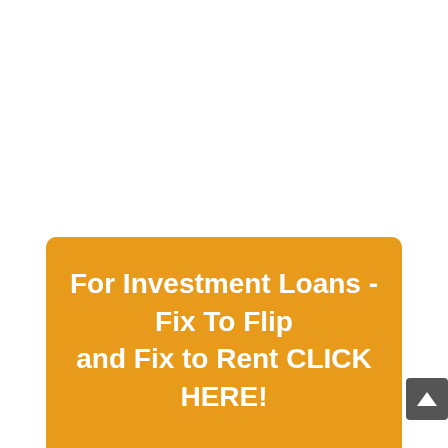[Figure (other): Orange banner button at bottom of page with white bold text reading 'For Investment Loans - Fix To Flip and Fix to Rent CLICK HERE!' and a dark grey scroll-to-top arrow button at the bottom right corner.]